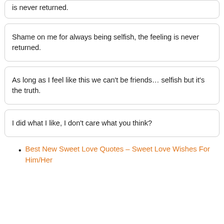is never returned.
Shame on me for always being selfish, the feeling is never returned.
As long as I feel like this we can't be friends… selfish but it's the truth.
I did what I like, I don't care what you think?
Best New Sweet Love Quotes – Sweet Love Wishes For Him/Her